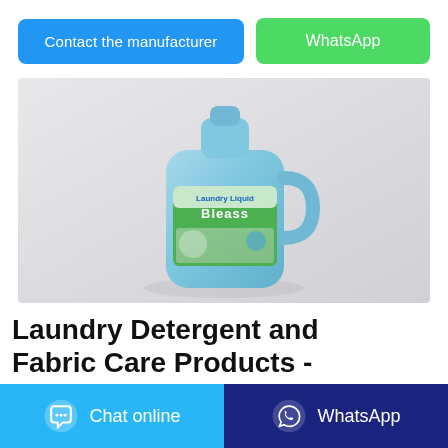[Figure (other): Two buttons: 'Contact the manufacturer' (blue) and 'WhatsApp' (green)]
[Figure (photo): A blue plastic laundry detergent bottle with a handle and a colorful label reading 'Bleass Laundry Liquid', displayed on a light gray background.]
Laundry Detergent and Fabric Care Products -
[Figure (other): Bottom bar with two buttons: 'Chat online' (light blue with chat icon) and 'WhatsApp' (dark blue with WhatsApp icon)]